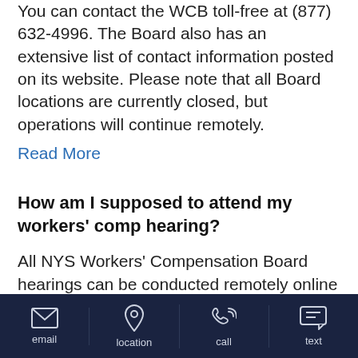You can contact the WCB toll-free at (877) 632-4996. The Board also has an extensive list of contact information posted on its website. Please note that all Board locations are currently closed, but operations will continue remotely.
Read More
How am I supposed to attend my workers' comp hearing?
All NYS Workers' Compensation Board hearings can be conducted remotely online through the Board's Virtual Hearings. Injured workers can also choose to participate in hearings via phone by calling (844) 337-6301. You may also get your hearing rescheduled in
email | location | call | text